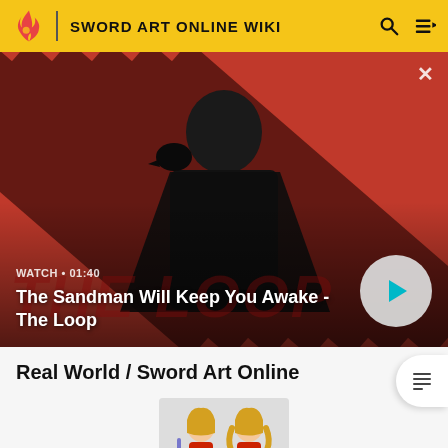SWORD ART ONLINE WIKI
[Figure (screenshot): Video banner with dark-clothed figure and a raven on diagonal red/black striped background. Text overlay: WATCH • 01:40, The Sandman Will Keep You Awake - The Loop. Play button on right.]
Real World / Sword Art Online
[Figure (illustration): Two anime-style characters in red armor outfits, depicting Sword Art Online characters.]